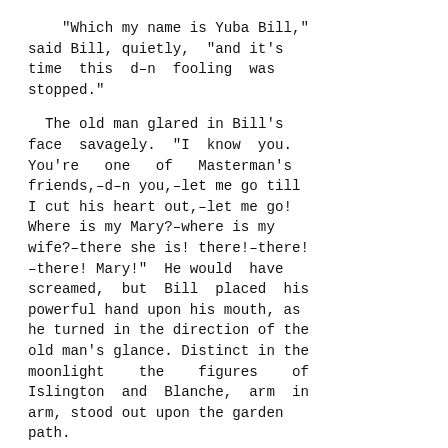"Which my name is Yuba Bill," said Bill, quietly, "and it's time this d–n fooling was stopped."
The old man glared in Bill's face savagely. "I know you. You're one of Masterman's friends,–d–n you,–let me go till I cut his heart out,–let me go! Where is my Mary?–where is my wife?–there she is! there!–there! –there! Mary!" He would have screamed, but Bill placed his powerful hand upon his mouth, as he turned in the direction of the old man's glance. Distinct in the moonlight the figures of Islington and Blanche, arm in arm, stood out upon the garden path.
"Give me my wife!" muttered the old man hoarsely, between Bill's fingers. "Where is she?"